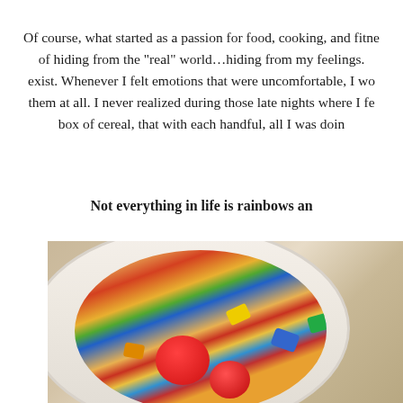Of course, what started as a passion for food, cooking, and fitn... of hiding from the "real" world…hiding from my feelings. exist. Whenever I felt emotions that were uncomfortable, I wo... them at all. I never realized during those late nights where I fe... box of cereal, that with each handful, all I was doin...
Not everything in life is rainbows an...
[Figure (photo): A white bowl filled with colorful Fruity Pebbles cereal and red raspberries on top, photographed from above at an angle on a tan/beige background.]